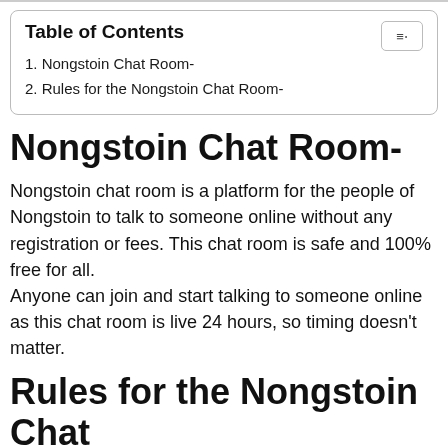| Table of Contents |
| --- |
| 1. Nongstoin Chat Room- |
| 2. Rules for the Nongstoin Chat Room- |
Nongstoin Chat Room-
Nongstoin chat room is a platform for the people of Nongstoin to talk to someone online without any registration or fees. This chat room is safe and 100% free for all.
Anyone can join and start talking to someone online as this chat room is live 24 hours, so timing doesn't matter.
Rules for the Nongstoin Chat Room-